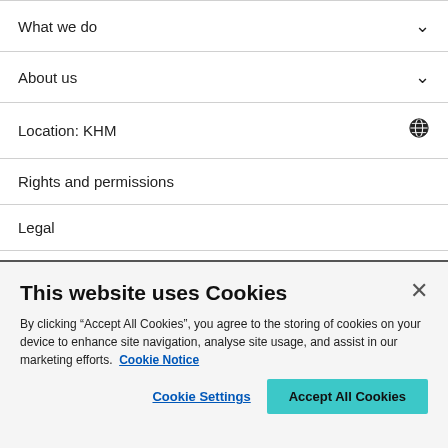What we do
About us
Location: KHM
Rights and permissions
Legal
Privacy
Modern slavery
This website uses Cookies
By clicking “Accept All Cookies”, you agree to the storing of cookies on your device to enhance site navigation, analyse site usage, and assist in our marketing efforts.  Cookie Notice
Cookie Settings | Accept All Cookies